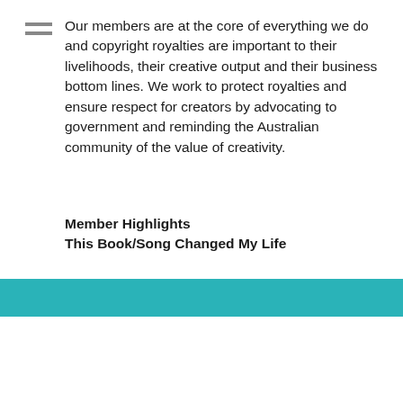Our members are at the core of everything we do and copyright royalties are important to their livelihoods, their creative output and their business bottom lines. We work to protect royalties and ensure respect for creators by advocating to government and reminding the Australian community of the value of creativity.
Member Highlights
This Book/Song Changed My Life
HIGHLIGHT TWO
INNOVATION FOR EDUCATION
In 2018, we started to trial a cloud-based tool called Flex to help librarians, teachers and students easily source copyright compliant material; launched a new $15k fellowship for